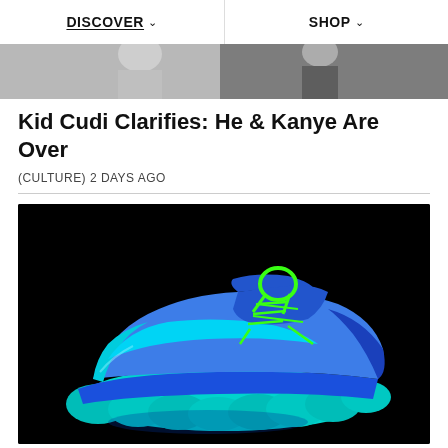DISCOVER  SHOP
[Figure (photo): Partial photo strip showing people in the background, cropped at top]
Kid Cudi Clarifies: He & Kanye Are Over
(CULTURE) 2 DAYS AGO
[Figure (photo): A blue and cyan Yeezy 500 sneaker with neon green laces photographed against a black background]